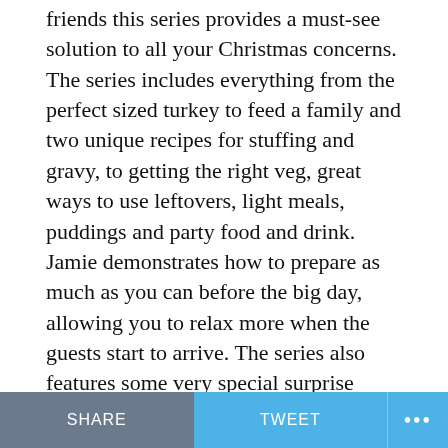friends this series provides a must-see solution to all your Christmas concerns. The series includes everything from the perfect sized turkey to feed a family and two unique recipes for stuffing and gravy, to getting the right veg, great ways to use leftovers, light meals, puddings and party food and drink. Jamie demonstrates how to prepare as much as you can before the big day, allowing you to relax more when the guests start to arrive. The series also features some very special surprise guest appearances.
RELATED TOPICS:
UP NEXT
Comedy Central to be launched on DStv tomorrow!
DON'T MISS
SHARE   TWEET   ...